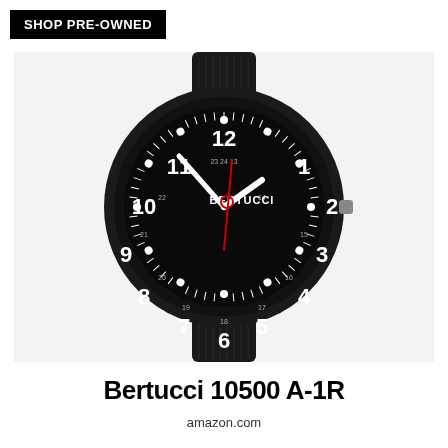SHOP PRE-OWNED
[Figure (photo): Bertucci 10500 A-1R watch with black nylon strap, black case, and black dial showing white hour markers and numerals 1-12, BERTUCCI brand name, white hour and minute hands, red second hand, and 24-hour inner ring markings.]
Bertucci 10500 A-1R
amazon.com